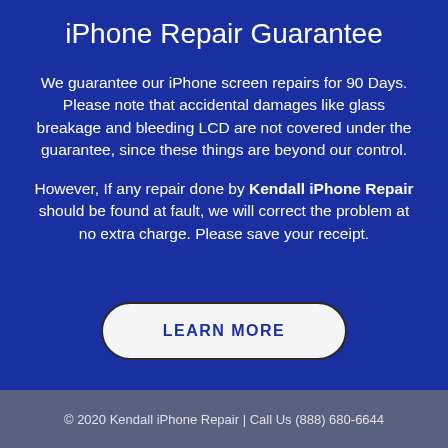iPhone Repair Guarantee
We guarantee our iPhone screen repairs for 90 Days. Please note that accidental damages like glass breakage and bleeding LCD are not covered under the guarantee, since these things are beyond our control.
However, If any repair done by Kendall iPhone Repair should be found at fault, we will correct the problem at no extra charge. Please save your receipt.
LEARN MORE
© 2020 Kendall iPhone Repair | Call Us (888) 680-6644